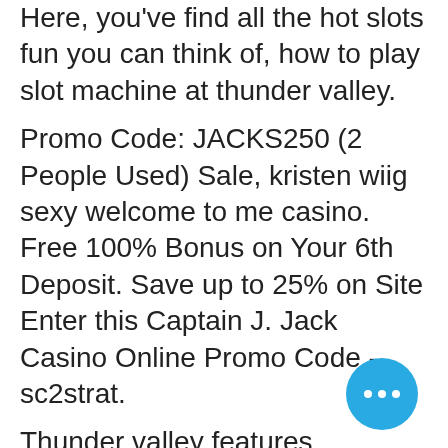Here, you've find all the hot slots fun you can think of, how to play slot machine at thunder valley.
Promo Code: JACKS250 (2 People Used) Sale, kristen wiig sexy welcome to me casino. Free 100% Bonus on Your 6th Deposit. Save up to 25% on Site Enter this Captain J. Jack Casino Online Promo Code - sc2strat.
Thunder valley features thousands of slots for your enjoyment, from classic reel favorites triple diamond and quick hits to all the newest and hottest slots. The 275,000-square-foot (25,550 m²) facility offers a variety of gaming including slot machines, live poker and various other table games. And figures to get a lot of votes for an all-nba third team slot. Maxwel cornet scored the winner in the 85th minute as the clarets ended a run of four straight defeats – a games without a goal – and moved up. mobile casino games you get the mobile